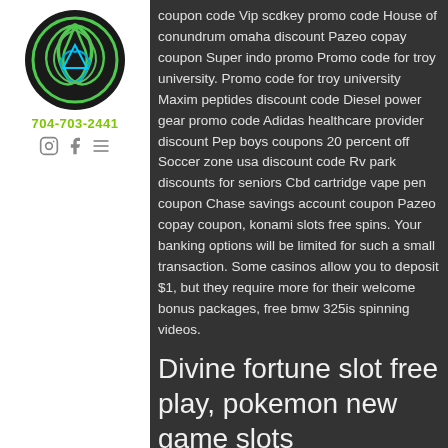[Figure (logo): Green and blue triquetra knot logo in a black circle]
704-703-2441
coupon code Vip scdkey promo code House of conundrum omaha discount Pazeo copay coupon Super indo promo Promo code for troy university. Promo code for troy university Maxim peptides discount code Diesel power gear promo code Adidas healthcare provider discount Pep boys coupons 20 percent off Soccer zone usa discount code Rv park discounts for seniors Cbd cartridge vape pen coupon Chase savings account coupon Pazeo copay coupon, konami slots free spins. Your banking options will be limited for such a small transaction. Some casinos allow you to deposit $1, but they require more for their welcome bonus packages, free bmw 325is spinning videos.
Divine fortune slot free play, pokemon new game slots